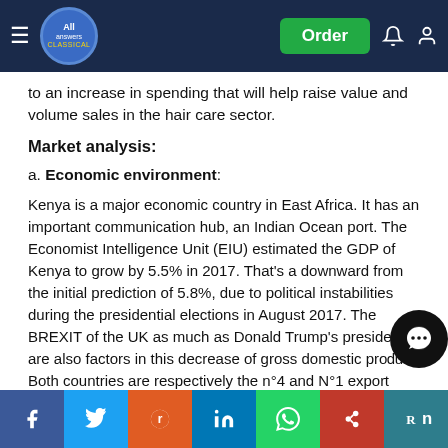All Answers Classical — navigation bar with Order button
to an increase in spending that will help raise value and volume sales in the hair care sector.
Market analysis:
a. Economic environment:
Kenya is a major economic country in East Africa. It has an important communication hub, an Indian Ocean port. The Economist Intelligence Unit (EIU) estimated the GDP of Kenya to grow by 5.5% in 2017. That's a downward from the initial prediction of 5.8%, due to political instabilities during the presidential elections in August 2017. The BREXIT of the UK as much as Donald Trump's presidency are also factors in this decrease of gross domestic product. Both countries are respectively the n°4 and N°1 export destinations of Kenya. Closing borders will profoundly affect the country's economy.